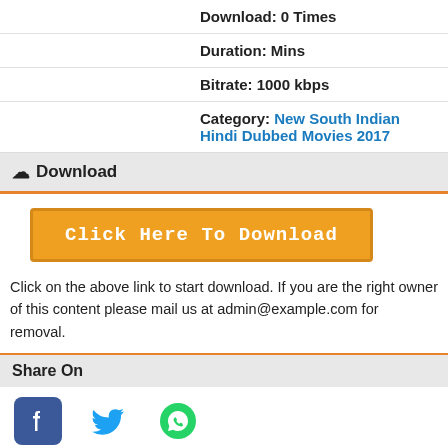| Download: 0 Times |
| Duration: Mins |
| Bitrate: 1000 kbps |
| Category: New South Indian Hindi Dubbed Movies 2017 |
☁ Download
[Figure (other): Orange button labeled 'Click Here To Download']
Click on the above link to start download. If you are the right owner of this content please mail us at admin@example.com for removal.
Share On
[Figure (other): Social media icons: Facebook, Twitter, WhatsApp]
Tags :- Download Brahmotsavam 2016 Hindi Dubbed South Indian Movie HDRip Full Mp4 Movie Download, Brahmotsavam 2016 Hindi Dubbed South Indian Movie HDRip aFilmywap, Brahmotsavam 2016 Hindi Dubbed South Indian Movie HDRip 480p Mp4 Download, Brahmotsavam 2016 Hindi Dubbed South Indian Movie HDRip 480p Mkv Movie Download, Brahmotsavam 2016 Hindi Dubbed South Indian Movie HDRip HD Quality
Download Now